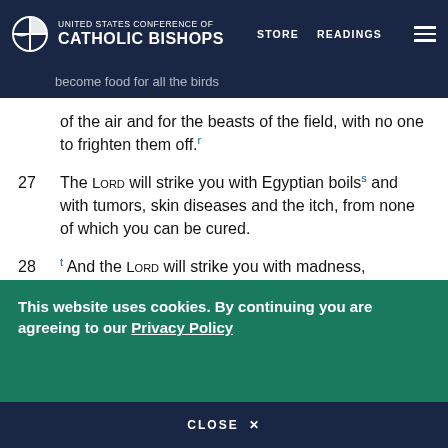United States Conference of Catholic Bishops — STORE  READINGS
of the air and for the beasts of the field, with no one to frighten them off.r
27  The LORD will strike you with Egyptian boilss and with tumors, skin diseases and the itch, from none of which you can be cured.
28  t And the LORD will strike you with madness, blindness and panic,
29  so that even at midday you will grope in the dark as though blind, unable to find your way.
This website uses cookies. By continuing you are agreeing to our Privacy Policy
CLOSE  X